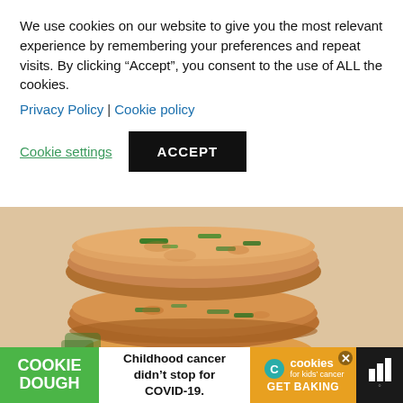We use cookies on our website to give you the most relevant experience by remembering your preferences and repeat visits. By clicking “Accept”, you consent to the use of ALL the cookies.
Privacy Policy | Cookie policy
Cookie settings  ACCEPT
[Figure (photo): Stack of three tuna or salmon patties/cakes with green herbs (scallions/parsley), photographed close-up on white background]
[Figure (other): Advertisement bar: Cookie Dough brand ad - 'Childhood cancer didn't stop for COVID-19. cookies for kids cancer GET BAKING' with logo bars]